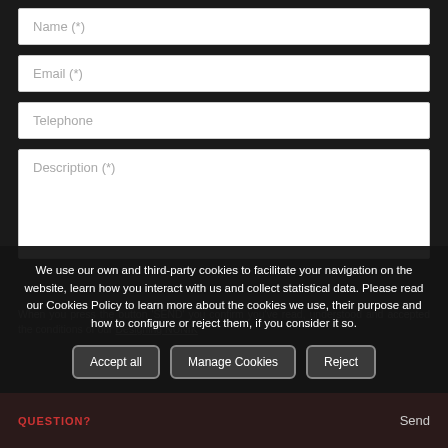[Figure (screenshot): Web contact form with fields: Name (*), Email (*), Telephone, Description (*)]
We use our own and third-party cookies to facilitate your navigation on the website, learn how you interact with us and collect statistical data. Please read our Cookies Policy to learn more about the cookies we use, their purpose and how to configure or reject them, if you consider it so.
Accept all
Manage Cookies
Reject
QUESTION? Send